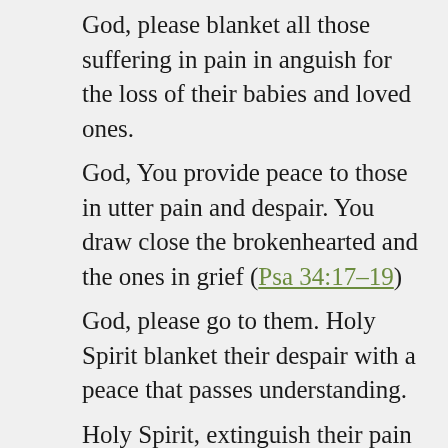God, please blanket all those suffering in pain in anguish for the loss of their babies and loved ones.
God, You provide peace to those in utter pain and despair. You draw close the brokenhearted and the ones in grief (Psa 34:17-19)
God, please go to them. Holy Spirit blanket their despair with a peace that passes understanding.
Holy Spirit, extinguish their pain and suffering with Your love.
God, we lift them up to You.
God, heal our land. Father, let us draw ever closer to You in our confusion, frustration, and sorrow.
God, bless all those first responders who acted bravely to protect their citizens, most being...